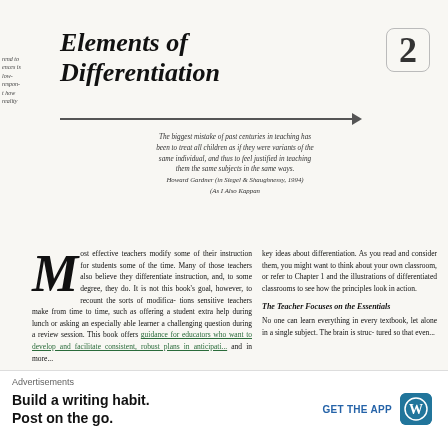Elements of Differentiation
The biggest mistake of past centuries in teaching has been to treat all children as if they were variants of the same individual, and thus to feel justified in teaching them the same subjects in the same ways. Howard Gardner (in Siegel & Shaughnessy, 1994) (As I Also Kappan
Most effective teachers modify some of their instruction for students some of the time. Many of those teachers also believe they differentiate instruction, and, to some degree, they do. It is not this book's goal, however, to recount the sorts of modifications sensitive teachers make from time to time, such as offering a student extra help during lunch or asking an especially able learner a challenging question during a review session. This book offers guidance for educators who want to develop and facilitate consistent, robust plans in anticipati... and in more...
key ideas about differentiation. As you read and consider them, you might want to think about your own classroom, or refer to Chapter 1 and the illustrations of differentiated classrooms to see how the principles look in action.
The Teacher Focuses on the Essentials
No one can learn everything in every textbook, let alone in a single subject. The brain is structured so that even...
Advertisements
Build a writing habit. Post on the go.
GET THE APP